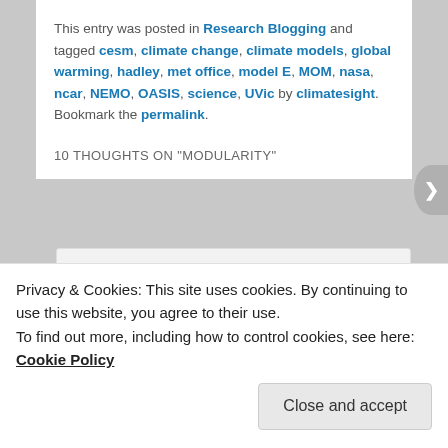This entry was posted in Research Blogging and tagged cesm, climate change, climate models, global warming, hadley, met office, model E, MOM, nasa, ncar, NEMO, OASIS, science, UVic by climatesight. Bookmark the permalink.
10 THOUGHTS ON “MODULARITY”
[Figure (illustration): User avatar/gravatar: teal and white geometric quilt-pattern square icon]
M on Jul 13, 2011 at 3:38 pm said:
Privacy & Cookies: This site uses cookies. By continuing to use this website, you agree to their use.
To find out more, including how to control cookies, see here: Cookie Policy
Close and accept